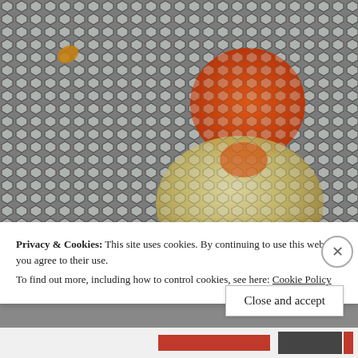[Figure (photo): Close-up photograph of a hexagonal mesh/screen material with metallic gray tones. An orange-red circular shape is visible in the upper-center area, partially overlapping a larger golden/cream elliptical shape below it, and a small orange piece appears at the upper left of the mesh.]
Privacy & Cookies: This site uses cookies. By continuing to use this website, you agree to their use.
To find out more, including how to control cookies, see here: Cookie Policy
Close and accept